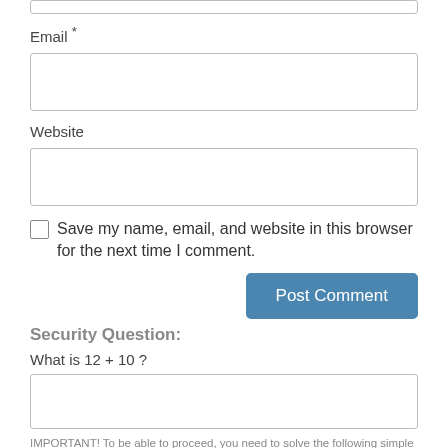[Figure (screenshot): Partial top input box (cropped at top of page)]
Email *
[Figure (screenshot): Email input text field (empty)]
Website
[Figure (screenshot): Website input text field (empty)]
Save my name, email, and website in this browser for the next time I comment.
[Figure (screenshot): Post Comment button (blue)]
Security Question:
What is 12 + 10 ?
[Figure (screenshot): Security answer input text field (empty)]
IMPORTANT! To be able to proceed, you need to solve the following simple math (so we know that you are a human) :-)